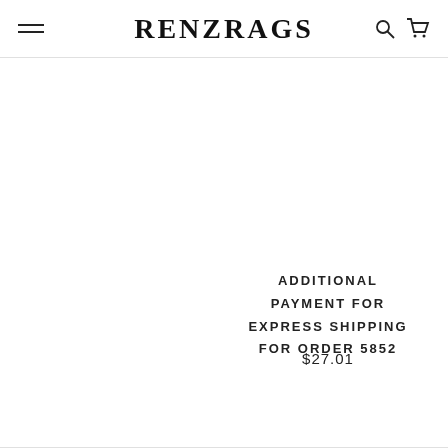RENZRAGS
ADDITIONAL PAYMENT FOR EXPRESS SHIPPING FOR ORDER 5852
$27.01